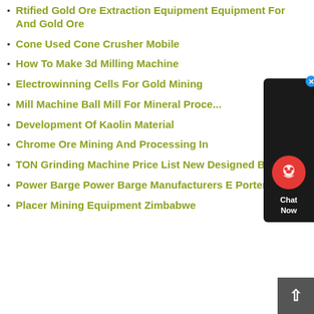Rtified Gold Ore Extraction Equipment Equipment For And Gold Ore
Cone Used Cone Crusher Mobile
How To Make 3d Milling Machine
Electrowinning Cells For Gold Mining
Mill Machine Ball Mill For Mineral Proce...
Development Of Kaolin Material
Chrome Ore Mining And Processing In
TON Grinding Machine Price List New Designed Ball Mill
Power Barge Power Barge Manufacturers E Porters For
Placer Mining Equipment Zimbabwe